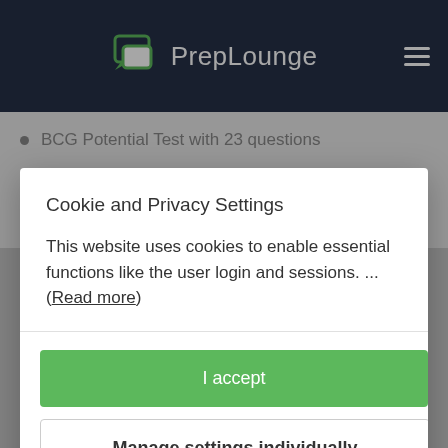PrepLounge
BCG Potential Test with 23 questions
Created by ex-BCG consultant Francesco
Format and style for a real test experience
Cookie and Privacy Settings
This website uses cookies to enable essential functions like the user login and sessions. ... (Read more)
I accept
Manage settings individually